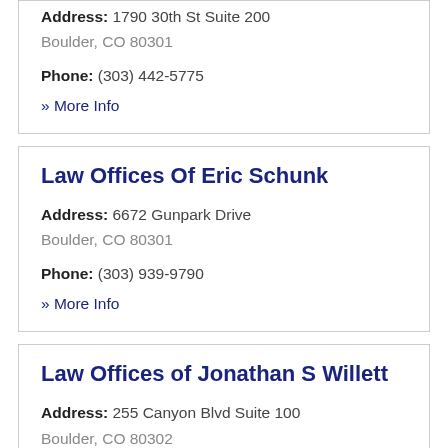Address: 1790 30th St Suite 200
Boulder, CO 80301
Phone: (303) 442-5775
» More Info
Law Offices Of Eric Schunk
Address: 6672 Gunpark Drive
Boulder, CO 80301
Phone: (303) 939-9790
» More Info
Law Offices of Jonathan S Willett
Address: 255 Canyon Blvd Suite 100
Boulder, CO 80302